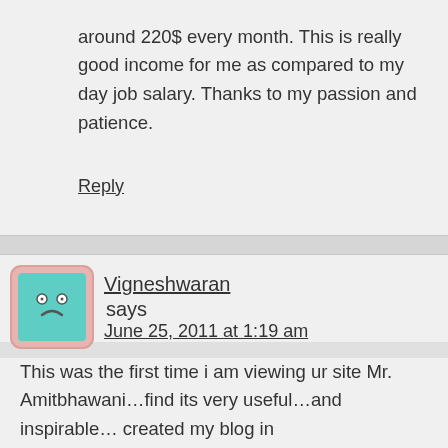around 220$ every month. This is really good income for me as compared to my day job salary. Thanks to my passion and patience.
Reply
Vigneshwaran says
June 25, 2011 at 1:19 am
This was the first time i am viewing ur site Mr. Amitbhawani…find its very useful…and inspirable… created my blog in blogspot.com….but i felt very lazy before few months…not even visited my blog…but no…i am coming to search…